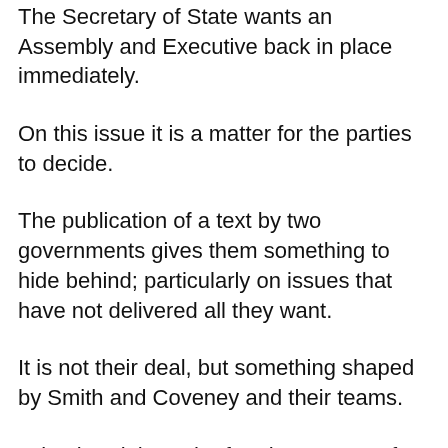The Secretary of State wants an Assembly and Executive back in place immediately.
On this issue it is a matter for the parties to decide.
The publication of a text by two governments gives them something to hide behind; particularly on issues that have not delivered all they want.
It is not their deal, but something shaped by Smith and Coveney and their teams.
Is it a breakthrough after three years of breakdown?